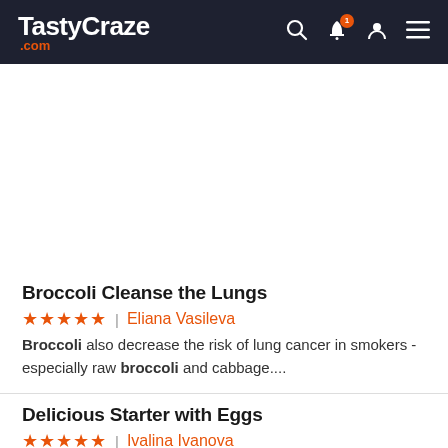TastyCraze.com
[Figure (other): Advertisement or blank space below header]
Broccoli Cleanse the Lungs
★★★★★ | Eliana Vasileva
Broccoli also decrease the risk of lung cancer in smokers - especially raw broccoli and cabbage....
Delicious Starter with Eggs
★★★★★ | Ivalina Ivanova